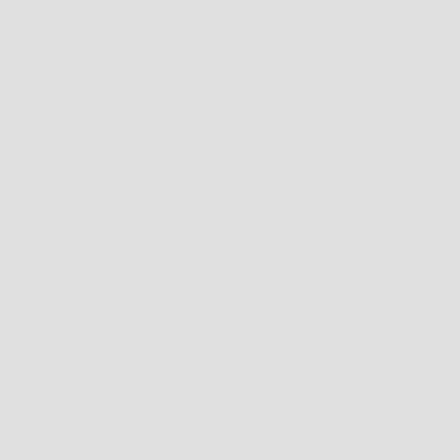| name | value |
| --- | --- |
| race-dd-creed-time-of-2015 | [D |
| [dm]razer_-v3-_myalien | [D |
| shooter_mmxv | [S |
| dd-frusa-crossfunny | [D |
| thunderrace_v3_ | [D |
| race-mount-chillard | [R |
| -dd-isco | [D |
| shooter-pirate-area-by-polishman | [S |
| crosslikediscodd | [D |
| iscocrossvezirddmap | [D |
| iscomandd | [D |